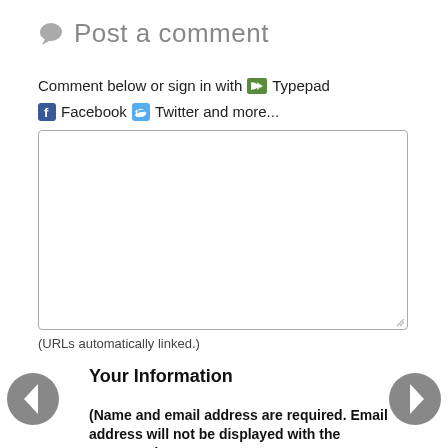Post a comment
Comment below or sign in with Typepad Facebook Twitter and more...
[Figure (other): Comment text input textarea box]
(URLs automatically linked.)
Your Information
(Name and email address are required. Email address will not be displayed with the comment.)